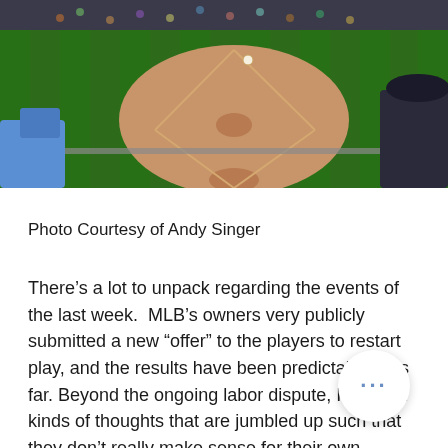[Figure (photo): Aerial/overhead view of a baseball field from stadium seats, showing the infield diamond and pitcher's mound. Two spectators visible at bottom-left (person in blue) and bottom-right (person in dark cap).]
Photo Courtesy of Andy Singer
There’s a lot to unpack regarding the events of the last week.  MLB’s owners very publicly submitted a new “offer” to the players to restart play, and the results have been predictable thus far. Beyond the ongoing labor dispute, I have all kinds of thoughts that are jumbled up such that they don’t really make sense for their own article.  So I’ve included a few quick hits here in the space normally reserved for the Weekly